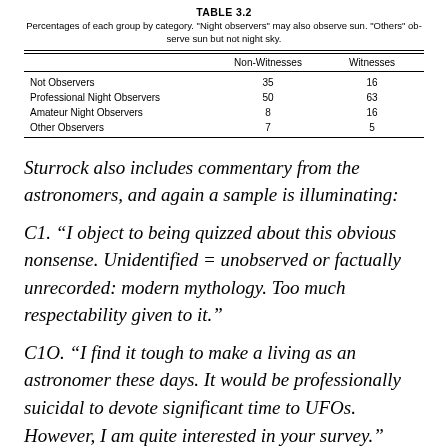TABLE 3.2
Percentages of each group by category. "Night observers" may also observe sun. "Others" observe sun but not night sky.
|  | Non-Witnesses | Witnesses |
| --- | --- | --- |
| Not Observers | 35 | 16 |
| Professional Night Observers | 50 | 63 |
| Amateur Night Observers | 8 | 16 |
| Other Observers | 7 | 5 |
Sturrock also includes commentary from the astronomers, and again a sample is illuminating:
C1. “I object to being quizzed about this obvious nonsense. Unidentified = unobserved or factually unrecorded: modern mythology. Too much respectability given to it.”
C1O. “I find it tough to make a living as an astronomer these days. It would be professionally suicidal to devote significant time to UFOs. However, I am quite interested in your survey.”